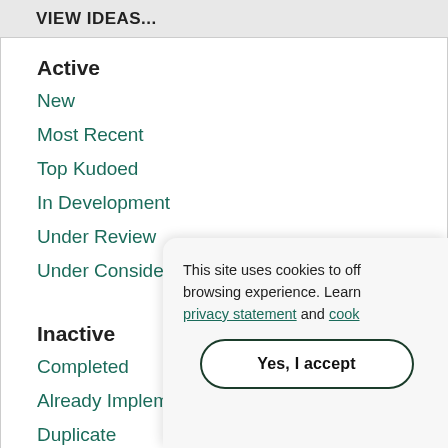VIEW IDEAS...
Active
New
Most Recent
Top Kudoed
In Development
Under Review
Under Consideration
Inactive
Completed
Already Implemented
Duplicate
Declined
This site uses cookies to off browsing experience. Learn privacy statement and cook
Yes, I accept